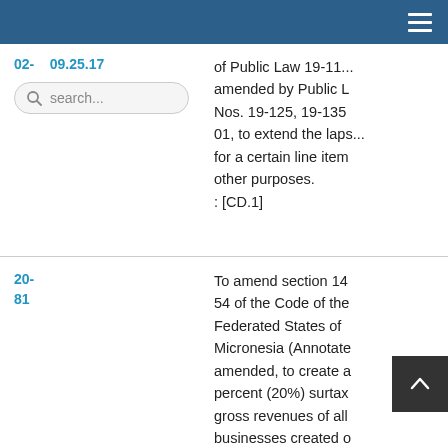02- 09.25.17
search...
of Public Law 19-11... amended by Public L Nos. 19-125, 19-135 01, to extend the laps... for a certain line item other purposes. : [CD.1]
20-81
To amend section 14 54 of the Code of the Federated States of Micronesia (Annotate amended, to create a percent (20%) surtax gross revenues of all businesses created or by the National Gove of the Federated Sta Micronesia, and for o purposes.